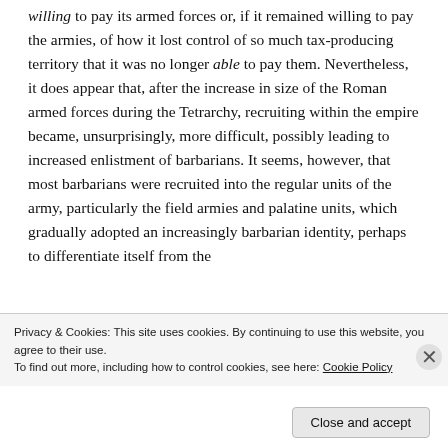willing to pay its armed forces or, if it remained willing to pay the armies, of how it lost control of so much tax-producing territory that it was no longer able to pay them. Nevertheless, it does appear that, after the increase in size of the Roman armed forces during the Tetrarchy, recruiting within the empire became, unsurprisingly, more difficult, possibly leading to increased enlistment of barbarians. It seems, however, that most barbarians were recruited into the regular units of the army, particularly the field armies and palatine units, which gradually adopted an increasingly barbarian identity, perhaps to differentiate itself from the
Privacy & Cookies: This site uses cookies. By continuing to use this website, you agree to their use.
To find out more, including how to control cookies, see here: Cookie Policy
Close and accept